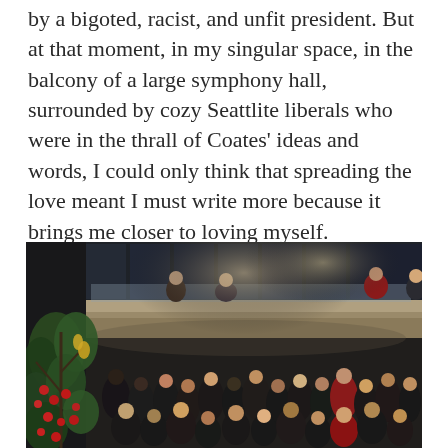by a bigoted, racist, and unfit president. But at that moment, in my singular space, in the balcony of a large symphony hall, surrounded by cozy Seattlite liberals who were in the thrall of Coates' ideas and words, I could only think that spreading the love meant I must write more because it brings me closer to loving myself.
[Figure (photo): Indoor photo of a large crowded symphony hall lobby at night. In the foreground are leafy green plants and red berries. In the background, people mill about in a large open space with a glass-railed balcony visible above, with more people leaning over.]